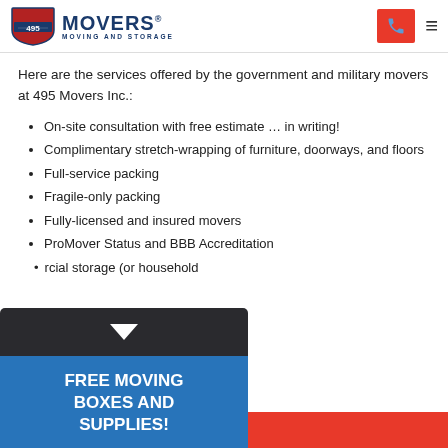[Figure (logo): 495 Movers Moving and Storage logo with shield icon]
Here are the services offered by the government and military movers at 495 Movers Inc.:
On-site consultation with free estimate … in writing!
Complimentary stretch-wrapping of furniture, doorways, and floors
Full-service packing
Fragile-only packing
Fully-licensed and insured movers
ProMover Status and BBB Accreditation
rcial storage (or household
[Figure (infographic): FREE MOVING BOXES AND SUPPLIES! promotional overlay panel in blue on dark background]
Quote